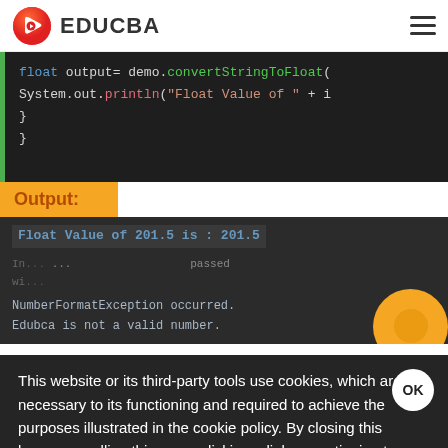EDUCBA
[Figure (screenshot): Java code snippet showing float output assignment with convertStringToFloat and System.out.println calls, with closing braces]
Output:
[Figure (screenshot): Terminal output showing: Float Value of 201.5 is : 201.5, and NumberFormatException occurred. Edubca is not a valid number.]
This website or its third-party tools use cookies, which are necessary to its functioning and required to achieve the purposes illustrated in the cookie policy. By closing this banner, scrolling this page, clicking a link or continuing to browse otherwise, you agree to our Privacy Policy